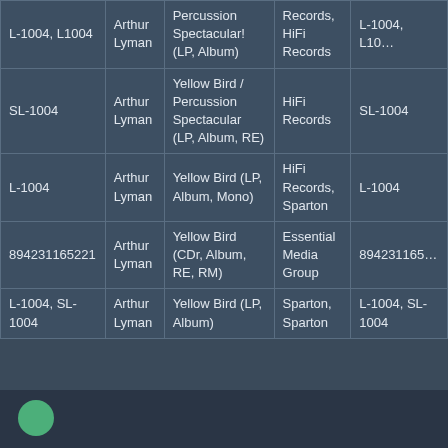| ID | Artist | Title | Label | Cat# |
| --- | --- | --- | --- | --- |
| L-1004, L1004 | Arthur Lyman | Percussion Spectacular! (LP, Album) | Records, HiFi Records | L-1004, L10... |
| SL-1004 | Arthur Lyman | Yellow Bird / Percussion Spectacular (LP, Album, RE) | HiFi Records | SL-1004 |
| L-1004 | Arthur Lyman | Yellow Bird (LP, Album, Mono) | HiFi Records, Sparton | L-1004 |
| 894231165221 | Arthur Lyman | Yellow Bird (CDr, Album, RE, RM) | Essential Media Group | 894231165... |
| L-1004, SL-1004 | Arthur Lyman | Yellow Bird (LP, Album) | Sparton, Sparton | L-1004, SL-1004 |